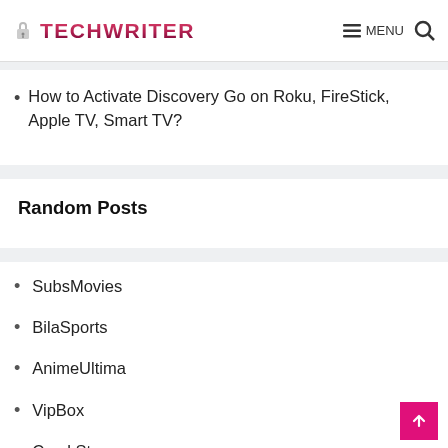TECHWRITER — MENU (navigation bar with hamburger menu and search icon)
How to Activate Discovery Go on Roku, FireStick, Apple TV, Smart TV?
Random Posts
SubsMovies
BilaSports
AnimeUltima
VipBox
CrackStreams